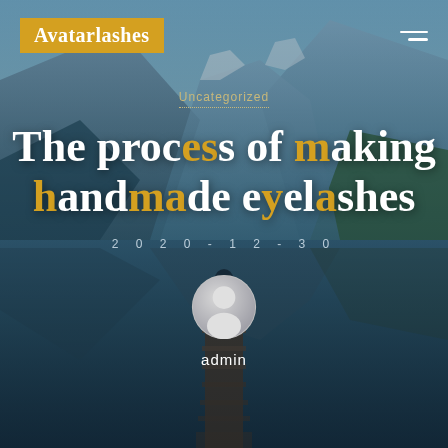[Figure (photo): Mountain lake landscape with a wooden dock/pier extending into calm water, mountains and sky reflected in the lake, person standing at the end of the pier, teal-blue tinted overlay]
Avatarlashes
Uncategorized
The process of making handmade eyelashes
2020-12-30
[Figure (illustration): Generic user avatar icon - circular grey silhouette of a person]
admin